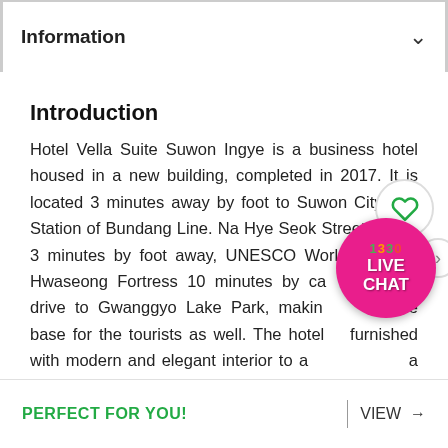Information
Introduction
Hotel Vella Suite Suwon Ingye is a business hotel housed in a new building, completed in 2017. It is located 3 minutes away by foot to Suwon City Hall Station of Bundang Line. Na Hye Seok Street is only 3 minutes by foot away, UNESCO World Heritage Hwaseong Fortress 10 minutes by car, 15-minute drive to Gwanggyo Lake Park, making it a prime base for the tourists as well. The hotel is furnished with modern and elegant interior to accommodate a wide variety of visitors, from solo travelers to long term
[Figure (illustration): Pink circular Live Chat button with 1330 number badge and heart icon circle overlay]
PERFECT FOR YOU!
VIEW →